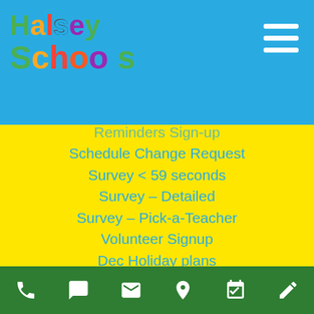[Figure (logo): Halsey Schools colorful logo with animal mascot]
Reminders Sign-up (partially visible)
Schedule Change Request
Survey < 59 seconds
Survey – Detailed
Survey – Pick-a-Teacher
Volunteer Signup
Dec Holiday plans
Summer Vacation Plans
Withdrawal Notice
Policies & Plans
Biting Policy
Discipline Policy (partially visible)
Phone | Chat | Email | Location | Calendar | Edit icons